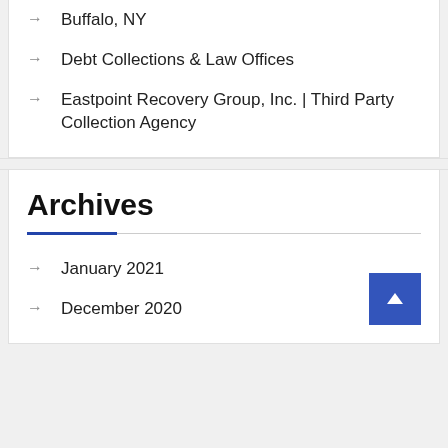Buffalo, NY
Debt Collections & Law Offices
Eastpoint Recovery Group, Inc. | Third Party Collection Agency
Archives
January 2021
December 2020